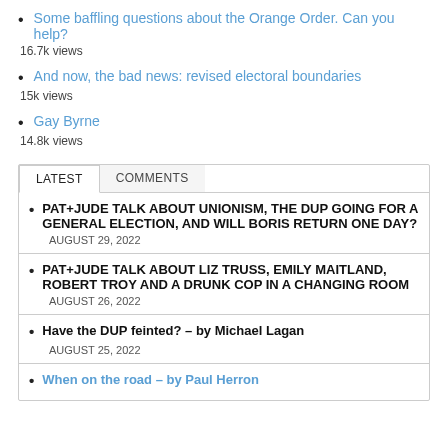Some baffling questions about the Orange Order. Can you help?
16.7k views
And now, the bad news: revised electoral boundaries
15k views
Gay Byrne
14.8k views
LATEST   COMMENTS
PAT+JUDE TALK ABOUT UNIONISM, THE DUP GOING FOR A GENERAL ELECTION, AND WILL BORIS RETURN ONE DAY?
AUGUST 29, 2022
PAT+JUDE TALK ABOUT LIZ TRUSS, EMILY MAITLAND, ROBERT TROY AND A DRUNK COP IN A CHANGING ROOM
AUGUST 26, 2022
Have the DUP feinted? – by Michael Lagan
AUGUST 25, 2022
When on the road – by Paul Herron